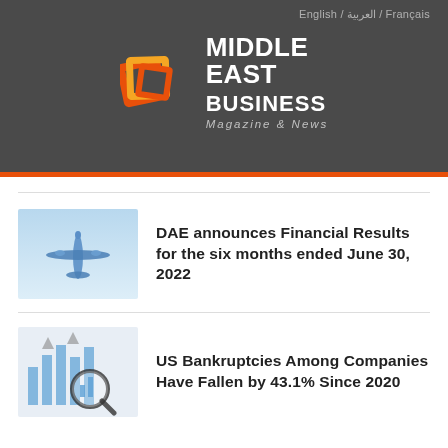English / العربية / Français
[Figure (logo): Middle East Business Magazine & News logo with orange/red nested square icon]
[Figure (photo): Airplane viewed from below against a light blue sky]
DAE announces Financial Results for the six months ended June 30, 2022
[Figure (photo): Financial chart with magnifying glass showing bar graphs and upward arrows]
US Bankruptcies Among Companies Have Fallen by 43.1% Since 2020